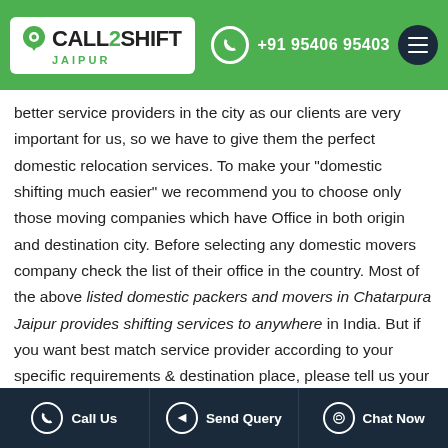Call2Shift Jaipur | +91 95406 95403
better service providers in the city as our clients are very important for us, so we have to give them the perfect domestic relocation services. To make your "domestic shifting much easier" we recommend you to choose only those moving companies which have Office in both origin and destination city. Before selecting any domestic movers company check the list of their office in the country. Most of the above listed domestic packers and movers in Chatarpura Jaipur provides shifting services to anywhere in India. But if you want best match service provider according to your specific requirements & destination place, please tell us your requirements by filling the contact form to help you best. To assure the dual security of your household or office goods, our
Call Us | Send Query | Chat Now